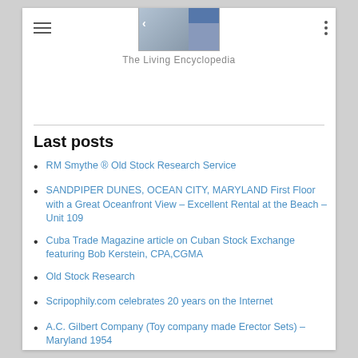[Figure (screenshot): Website header with logo image labeled 'Ask an Expert' showing a stock certificate and person photos, with navigation hamburger menu on left and dots menu on right]
The Living Encyclopedia
Last posts
RM Smythe ® Old Stock Research Service
SANDPIPER DUNES, OCEAN CITY, MARYLAND First Floor with a Great Oceanfront View – Excellent Rental at the Beach – Unit 109
Cuba Trade Magazine article on Cuban Stock Exchange featuring Bob Kerstein, CPA,CGMA
Old Stock Research
Scripophily.com celebrates 20 years on the Internet
A.C. Gilbert Company (Toy company made Erector Sets) – Maryland 1954
Rock and Roll Hall of Fame Revenue Bond – Cleveland, Ohio 1993
Jacob Little – The Original Wall Street Bear by Bob Kerstein